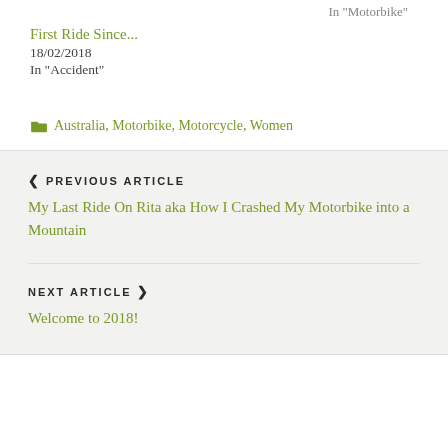In "Motorbike"
First Ride Since...
18/02/2018
In "Accident"
Australia, Motorbike, Motorcycle, Women
< PREVIOUS ARTICLE
My Last Ride On Rita aka How I Crashed My Motorbike into a Mountain
NEXT ARTICLE >
Welcome to 2018!